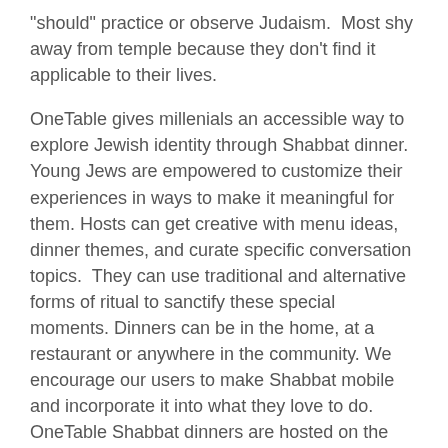“should” practice or observe Judaism. Most shy away from temple because they don’t find it applicable to their lives.
OneTable gives millenials an accessible way to explore Jewish identity through Shabbat dinner. Young Jews are empowered to customize their experiences in ways to make it meaningful for them. Hosts can get creative with menu ideas, dinner themes, and curate specific conversation topics. They can use traditional and alternative forms of ritual to sanctify these special moments. Dinners can be in the home, at a restaurant or anywhere in the community. We encourage our users to make Shabbat mobile and incorporate it into what they love to do. OneTable Shabbat dinners are hosted on the top of ski mountains, at campsites, at the beach, at concert venues and spin studios. OneTable provides all of the resources to make Shabbat dinner possible, including supplementing food costs, coaching guidance and ritual guides.